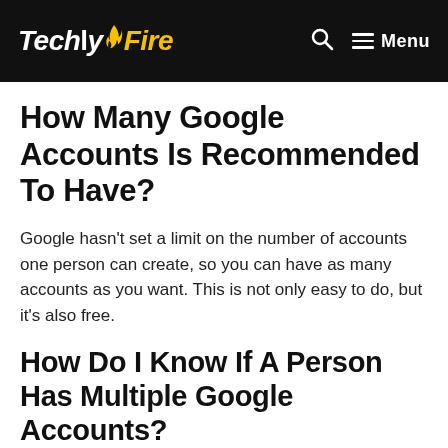TechlyFire — Menu
How Many Google Accounts Is Recommended To Have?
Google hasn't set a limit on the number of accounts one person can create, so you can have as many accounts as you want. This is not only easy to do, but it's also free.
How Do I Know If A Person Has Multiple Google Accounts?
Sign in to multiple accounts at once